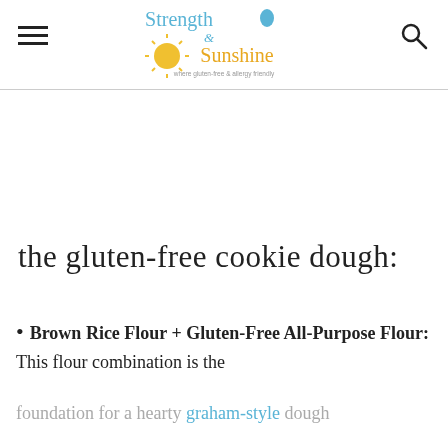Strength & Sunshine
the gluten-free cookie dough:
Brown Rice Flour + Gluten-Free All-Purpose Flour: This flour combination is the
foundation for a hearty graham-style dough